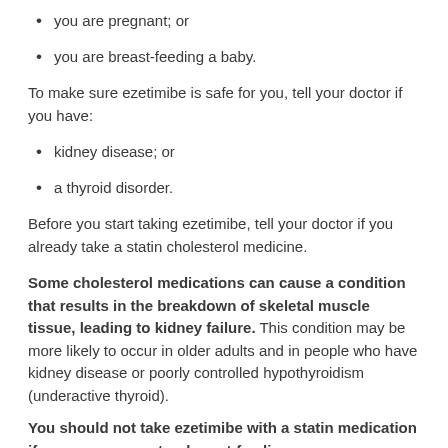you are pregnant; or
you are breast-feeding a baby.
To make sure ezetimibe is safe for you, tell your doctor if you have:
kidney disease; or
a thyroid disorder.
Before you start taking ezetimibe, tell your doctor if you already take a statin cholesterol medicine.
Some cholesterol medications can cause a condition that results in the breakdown of skeletal muscle tissue, leading to kidney failure. This condition may be more likely to occur in older adults and in people who have kidney disease or poorly controlled hypothyroidism (underactive thyroid).
You should not take ezetimibe with a statin medication if you are pregnant or breast-feeding.
It is not known whether ezetimibe alone will harm an unborn baby.